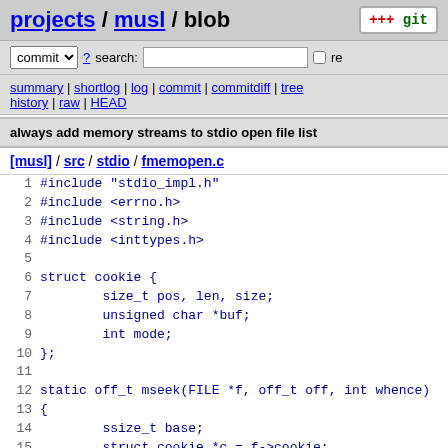projects / musl / blob
commit ? search: re
summary | shortlog | log | commit | commitdiff | tree history | raw | HEAD
always add memory streams to stdio open file list
[musl] / src / stdio / fmemopen.c
1 #include "stdio_impl.h"
2 #include <errno.h>
3 #include <string.h>
4 #include <inttypes.h>
5
6 struct cookie {
7         size_t pos, len, size;
8         unsigned char *buf;
9         int mode;
10 };
11
12 static off_t mseek(FILE *f, off_t off, int whence)
13 {
14         ssize_t base;
15         struct cookie *c = f->cookie;
16         if (whence>2U) {
17 fail:
18                 errno = EINVAL;
19         return -1;